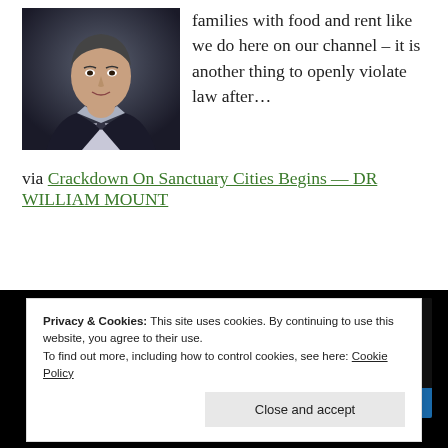[Figure (photo): Headshot photo of a man in a dark jacket and tie against a dark background]
families with food and rent like we do here on our channel – it is another thing to openly violate law after…
via Crackdown On Sanctuary Cities Begins — DR WILLIAM MOUNT
[Figure (screenshot): Screenshot of Black Knight Satellite website with dark background and red italic title text, with a blue strip at bottom]
Privacy & Cookies: This site uses cookies. By continuing to use this website, you agree to their use.
To find out more, including how to control cookies, see here: Cookie Policy
Close and accept